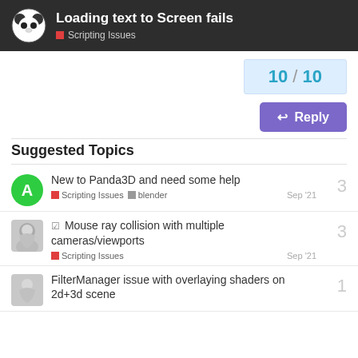Loading text to Screen fails — Scripting Issues
10 / 10
Reply
Suggested Topics
New to Panda3D and need some help — Scripting Issues, blender — Sep '21 — 3 replies
Mouse ray collision with multiple cameras/viewports — Scripting Issues — Sep '21 — 3 replies
FilterManager issue with overlaying shaders on 2d+3d scene — 1 reply